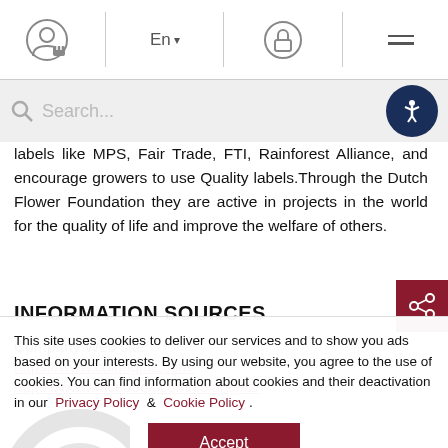Navigation bar with user icon, En language selector, lock icon, and menu icon
labels like MPS, Fair Trade, FTI, Rainforest Alliance, and encourage growers to use Quality labels.Through the Dutch Flower Foundation they are active in projects in the world for the quality of life and improve the welfare of others.
INFORMATION SOURCES
Company Web site:
https://www.coloriginz.com/
https://www.facebook.com/coloriginz/
This site uses cookies to deliver our services and to show you ads based on your interests. By using our website, you agree to the use of cookies. You can find information about cookies and their deactivation in our Privacy Policy & Cookie Policy .
Accept